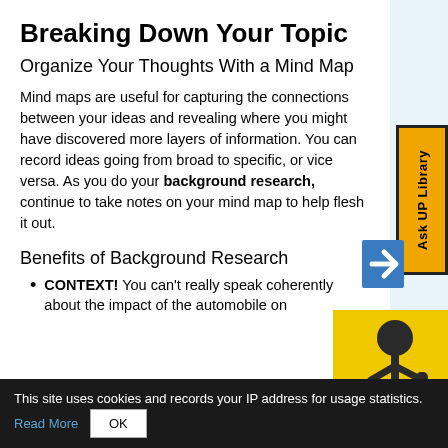Breaking Down Your Topic
Organize Your Thoughts With a Mind Map
Mind maps are useful for capturing the connections between your ideas and revealing where you might have discovered more layers of information. You can record ideas going from broad to specific, or vice versa. As you do your background research, continue to take notes on your mind map to help flesh it out.
Benefits of Background Research
CONTEXT! You can't really speak coherently about the impact of the automobile on
[Figure (illustration): Yellow background with dark stick figure holding a microphone]
This site uses cookies and records your IP address for usage statistics. Read More  OK